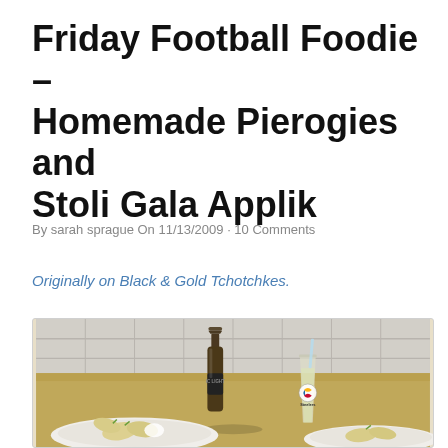Friday Football Foodie – Homemade Pierogies and Stoli Gala Applik
By sarah sprague On 11/13/2009 · 10 Comments
Originally on Black & Gold Tchotchkes.
[Figure (photo): Photo of food spread on a kitchen counter: a dark beer bottle (IC Light), a Steelers-branded glass with a straw, and two white plates with homemade pierogies garnished with green onions.]